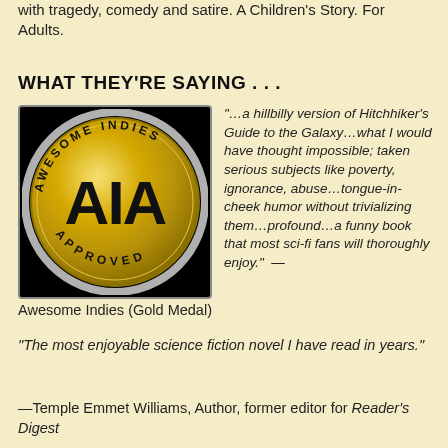with tragedy, comedy and satire. A Children's Story. For Adults.
WHAT THEY'RE SAYING . . .
[Figure (logo): Awesome Indies Approved gold medal badge with AIA letters in black on gold circle]
"…a hillbilly version of Hitchhiker's Guide to the Galaxy…what I would have thought impossible; taken serious subjects like poverty, ignorance, abuse…tongue-in-cheek humor without trivializing them…profound…a funny book that most sci-fi fans will thoroughly enjoy."  — Awesome Indies (Gold Medal)
"The most enjoyable science fiction novel I have read in years."
—Temple Emmet Williams, Author, former editor for Reader's Digest